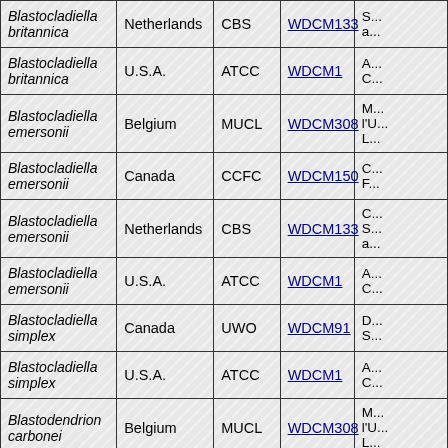| Species | Country | Collection | WDCM | Description |
| --- | --- | --- | --- | --- |
| Blastocladiella britannica | Netherlands | CBS | WDCM133 | S... a... |
| Blastocladiella britannica | U.S.A. | ATCC | WDCM1 | A... C... |
| Blastocladiella emersonii | Belgium | MUCL | WDCM308 | M... l'U... L... |
| Blastocladiella emersonii | Canada | CCFC | WDCM150 | C... F... |
| Blastocladiella emersonii | Netherlands | CBS | WDCM133 | C... S... a... |
| Blastocladiella emersonii | U.S.A. | ATCC | WDCM1 | A... C... |
| Blastocladiella simplex | Canada | UWO | WDCM91 | D... S... |
| Blastocladiella simplex | U.S.A. | ATCC | WDCM1 | A... C... |
| Blastodendrion carbonei | Belgium | MUCL | WDCM308 | M... l'U... L... |